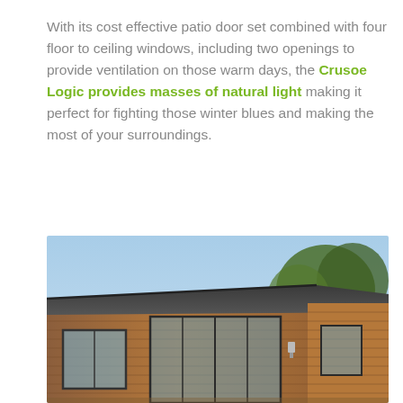With its cost effective patio door set combined with four floor to ceiling windows, including two openings to provide ventilation on those warm days, the Crusoe Logic provides masses of natural light making it perfect for fighting those winter blues and making the most of your surroundings.
[Figure (photo): Exterior photograph of a modern garden room/studio building with cedar wood cladding, flat roof with overhang, large windows and patio doors, set against a blue sky with trees in the background.]